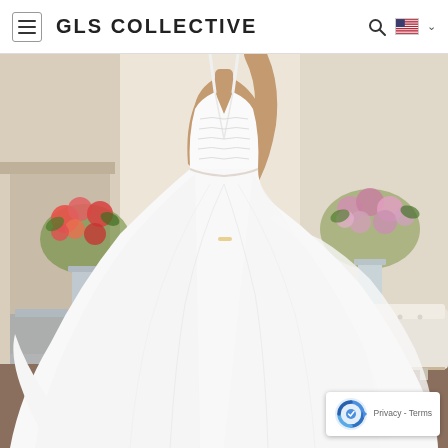GLS COLLECTIVE
[Figure (photo): A model wearing a white ball gown wedding dress with spaghetti straps, deep V-neckline with beaded bodice, and a full tulle skirt, posed in an elegant interior setting with floral arrangements and a white tufted sofa.]
[Figure (logo): reCAPTCHA badge with Google reCAPTCHA logo and 'Privacy - Terms' text]